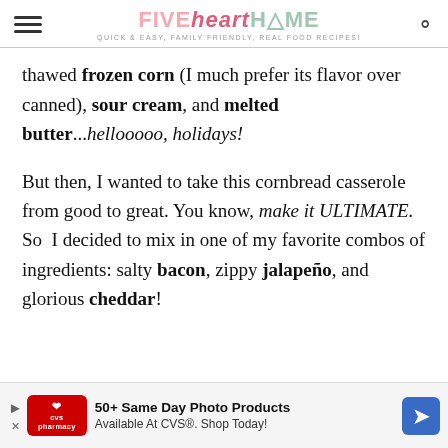FIVE heart HOME — Quick & Easy, Family Friendly, Real Food Recipes!
thawed frozen corn (I much prefer its flavor over canned), sour cream, and melted butter...hellooooo, holidays!
But then, I wanted to take this cornbread casserole from good to great. You know, make it ULTIMATE. So I decided to mix in one of my favorite combos of ingredients: salty bacon, zippy jalapeño, and glorious cheddar!
[Figure (other): CVS advertisement banner: 50+ Same Day Photo Products Available At CVS®. Shop Today!]